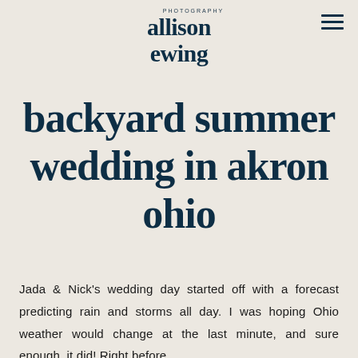allison ewing PHOTOGRAPHY
backyard summer wedding in akron ohio
Jada & Nick's wedding day started off with a forecast predicting rain and storms all day. I was hoping Ohio weather would change at the last minute, and sure enough, it did! Right before